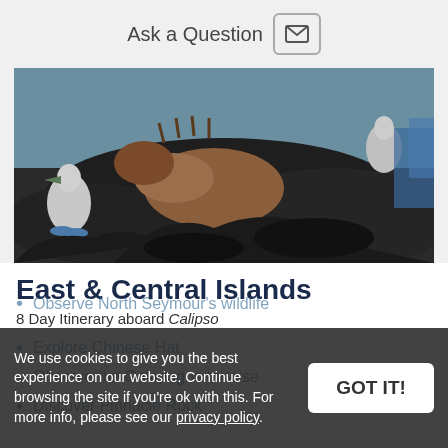Ask a Question
[Figure (photo): Close-up photo of Galapagos wildlife including a marine iguana and blue-footed boobies on dark volcanic rock]
East & Central Islands
8 Day Itinerary aboard Calipso
Explore Chinese Hat
Observe the Galapagos tortoise
Discover Pinnacle Rock
Observe North Seymour's wildlife
We use cookies to give you the best experience on our website. Continue browsing the site if you're ok with this. For more info, please see our privacy policy.